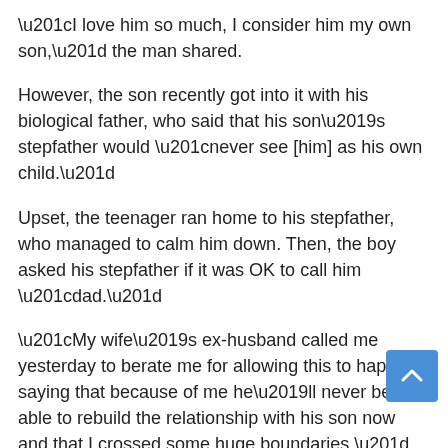“I love him so much, I consider him my own son,” the man shared.
However, the son recently got into it with his biological father, who said that his son’s stepfather would “never see [him] as his own child.”
Upset, the teenager ran home to his stepfather, who managed to calm him down. Then, the boy asked his stepfather if it was OK to call him “dad.”
“My wife’s ex-husband called me yesterday to berate me for allowing this to happen, saying that because of me he’ll never be able to rebuild the relationship with his son now and that I crossed some huge boundaries,” the man concluded.
Of course, this isn’t the first blended family to argue about parental titles.